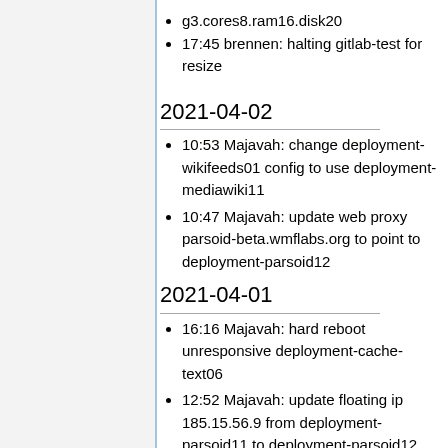17:45 brennen: halting gitlab-test for resize
2021-04-02
10:53 Majavah: change deployment-wikifeeds01 config to use deployment-mediawiki11
10:47 Majavah: update web proxy parsoid-beta.wmflabs.org to point to deployment-parsoid12
2021-04-01
16:16 Majavah: hard reboot unresponsive deployment-cache-text06
12:52 Majavah: update floating ip 185.15.56.9 from deployment-parsoid11 to deployment-parsoid12
11:08 Majavah: ...